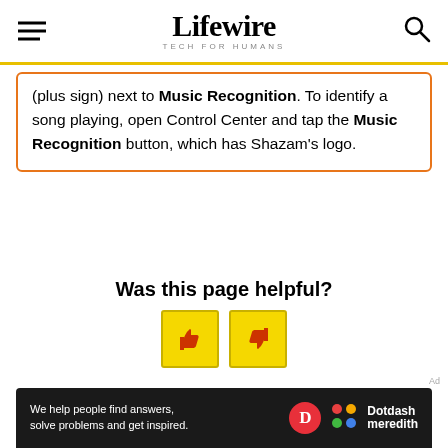Lifewire TECH FOR HUMANS
(plus sign) next to Music Recognition. To identify a song playing, open Control Center and tap the Music Recognition button, which has Shazam's logo.
Was this page helpful?
[Figure (infographic): Thumbs up and thumbs down buttons in yellow squares for page feedback]
[Figure (infographic): Dotdash Meredith footer ad: 'We help people find answers, solve problems and get inspired.' with D logo and colorful Dotdash Meredith logo]